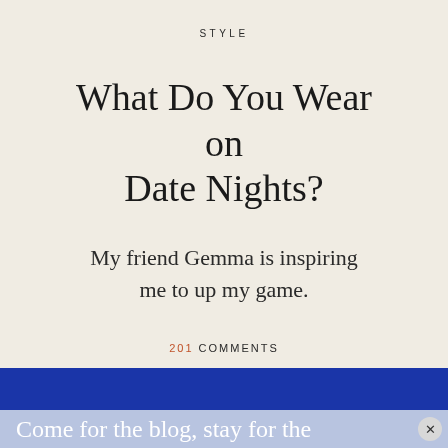STYLE
What Do You Wear on Date Nights?
My friend Gemma is inspiring me to up my game.
201 COMMENTS
Come for the blog, stay for the